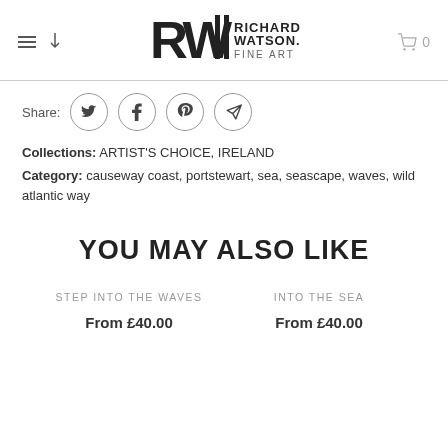Richard Watson Fine Art
Share:
Collections: ARTIST'S CHOICE, IRELAND
Category: causeway coast, portstewart, sea, seascape, waves, wild atlantic way
YOU MAY ALSO LIKE
STEP INTO THE WAVES
From £40.00
INTO THE SEA
From £40.00